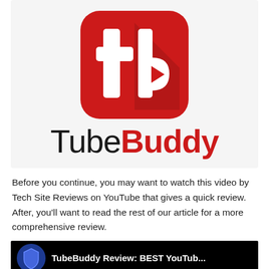[Figure (logo): TubeBuddy logo: red rounded-square icon with white 'tb' letterform and play triangle, plus wordmark 'TubeBuddy' with 'Tube' in black and 'Buddy' in red]
Before you continue, you may want to watch this video by Tech Site Reviews on YouTube that gives a quick review. After, you'll want to read the rest of our article for a more comprehensive review.
[Figure (screenshot): YouTube video thumbnail showing 'TubeBuddy Review: BEST YouTub...' with a blue shield icon on black background]